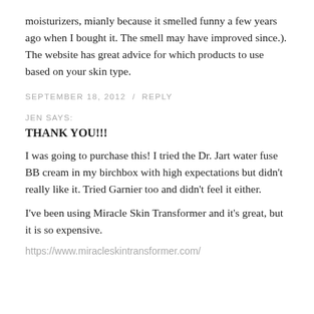moisturizers, mianly because it smelled funny a few years ago when I bought it. The smell may have improved since.). The website has great advice for which products to use based on your skin type.
SEPTEMBER 18, 2012 / REPLY
JEN SAYS:
THANK YOU!!!
I was going to purchase this! I tried the Dr. Jart water fuse BB cream in my birchbox with high expectations but didn't really like it. Tried Garnier too and didn't feel it either.
I've been using Miracle Skin Transformer and it's great, but it is so expensive.
https://www.miracleskintransformer.com/